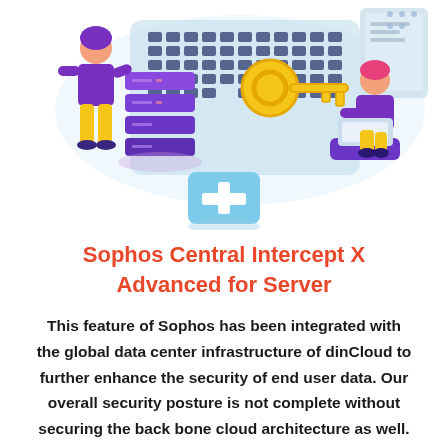[Figure (illustration): Isometric illustration showing cybersecurity theme: a person in purple standing next to stacked purple servers on the left, a large gold/yellow key in the center, a laptop/keyboard in the background, a person in purple sitting on a purple platform on the right using a laptop, and a light blue first-aid/plus box at the bottom center. Light blue and white color palette for background elements.]
Sophos Central Intercept X Advanced for Server
This feature of Sophos has been integrated with the global data center infrastructure of dinCloud to further enhance the security of end user data. Our overall security posture is not complete without securing the back bone cloud architecture as well.